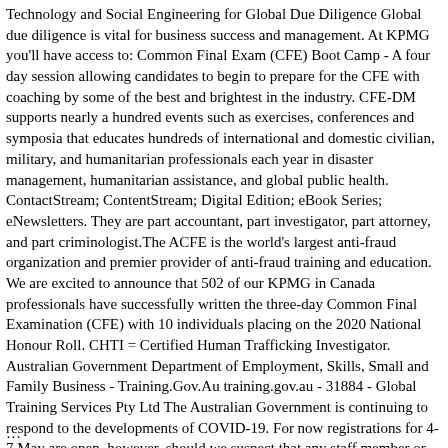Technology and Social Engineering for Global Due Diligence Global due diligence is vital for business success and management. At KPMG you'll have access to: Common Final Exam (CFE) Boot Camp - A four day session allowing candidates to begin to prepare for the CFE with coaching by some of the best and brightest in the industry. CFE-DM supports nearly a hundred events such as exercises, conferences and symposia that educates hundreds of international and domestic civilian, military, and humanitarian professionals each year in disaster management, humanitarian assistance, and global public health. ContactStream; ContentStream; Digital Edition; eBook Series; eNewsletters. They are part accountant, part investigator, part attorney, and part criminologist.The ACFE is the world's largest anti-fraud organization and premier provider of anti-fraud training and education. We are excited to announce that 502 of our KPMG in Canada professionals have successfully written the three-day Common Final Examination (CFE) with 10 individuals placing on the 2020 National Honour Roll. CHTI = Certified Human Trafficking Investigator. Australian Government Department of Employment, Skills, Small and Family Business - Training.Gov.Au training.gov.au - 31884 - Global Training Services Pty Ltd The Australian Government is continuing to respond to the developments of COVID-19. For now registrations for 4-7 May are open, however, should we suspect that any staff member or attendee could be at risk, the course will be postponed. CFE = Certified Fraud Examiner. Information about training seminars, briefings, and teleconferences. She is a developer of materials and deliverables for IB Mathematics teacher development which include those for the Analysis & Approaches Cat 1 face-to-face and online workshops. 2013 CFE = Microsoft Excel Files in a Zip File...